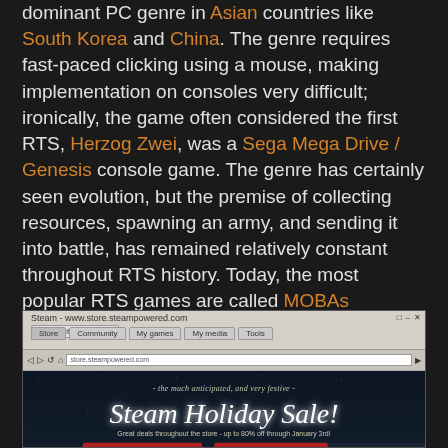dominant PC genre in Asian countries like South Korea and China. The genre requires fast-paced clicking using a mouse, making implementation on consoles very difficult; ironically, the game often considered the first RTS, Herzog Zwei, was a Sega Mega Drive / Genesis console game. The genre has certainly seen evolution, but the premise of collecting resources, spawning an army, and sending it into battle, has remained relatively constant throughout RTS history. Today, the most popular RTS games are called MOBAs (Multiplayer Online Battle Arenas), with games such as League of Legends and DOTA 2 being some of the most played games in the world.
[Figure (screenshot): Screenshot of a Steam browser window showing the Steam Holiday Sale promotion. The banner reads 'the much anticipated, and very festive - Steam Holiday Sale!' with subtitle 'Great deals throughout the store - up to 80% off through January 3rd!' Two red buttons: 'Premier Deals Through January 3rd!' and 'Browse Steam - Save up to 80%!'. Sidebar shows Action (221 games) and Adventure (75) categories. Bottom shows an Unreal engine logo and red cone shapes.]